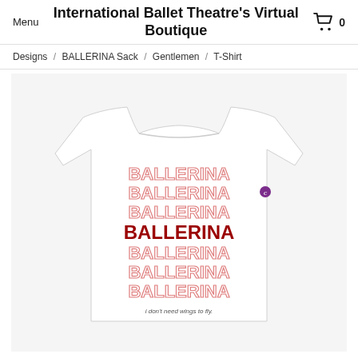Menu  International Ballet Theatre's Virtual Boutique  🛒 0
Designs / BALLERINA Sack / Gentlemen / T-Shirt
[Figure (photo): White Champion t-shirt with 'BALLERINA' repeated multiple times in red outline text, with one centered line in solid bold red. Tagline at bottom reads 'I don't need wings to fly.' Small Champion logo on sleeve.]